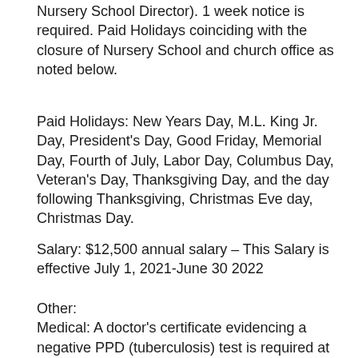Nursery School Director). 1 week notice is required. Paid Holidays coinciding with the closure of Nursery School and church office as noted below.
Paid Holidays: New Years Day, M.L. King Jr. Day, President's Day, Good Friday, Memorial Day, Fourth of July, Labor Day, Columbus Day, Veteran's Day, Thanksgiving Day, and the day following Thanksgiving, Christmas Eve day, Christmas Day.
Salary: $12,500 annual salary – This Salary is effective July 1, 2021-June 30 2022
Other:
Medical: A doctor's certificate evidencing a negative PPD (tuberculosis) test is required at the beginning of employment, not required after the